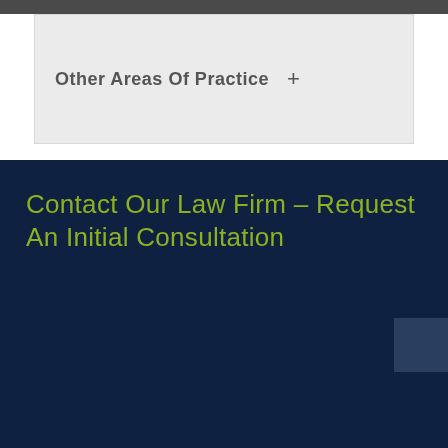Other Areas Of Practice  +
Contact Our Law Firm – Request An Initial Consultation